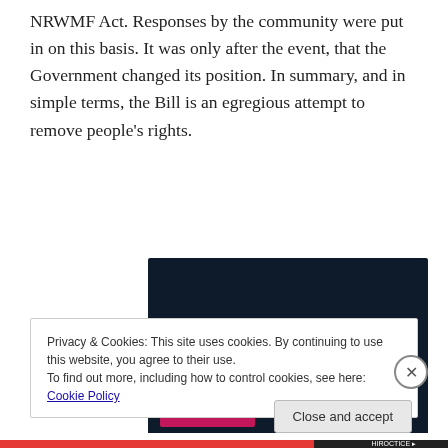NRWMF Act. Responses by the community were put in on this basis. It was only after the event, that the Government changed its position. In summary, and in simple terms, the Bill is an egregious attempt to remove people's rights.
[Figure (other): Dark navy advertisement banner reading 'Opinions. We all have them!' with white text on dark background, and a pink button and circular element at bottom.]
Privacy & Cookies: This site uses cookies. By continuing to use this website, you agree to their use.
To find out more, including how to control cookies, see here: Cookie Policy